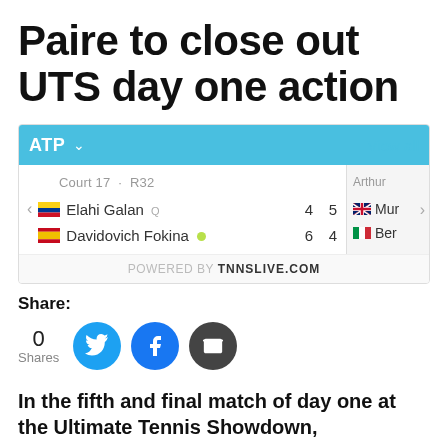Paire to close out UTS day one action
[Figure (screenshot): ATP scores widget showing Court 17 R32 match: Elahi Galan Q 4 5 vs Davidovich Fokina (serving) 6 4, with partially visible match on right side showing Mur and Ber. Powered by TNNSLIVE.COM]
Share:
0 Shares
In the fifth and final match of day one at the Ultimate Tennis Showdown,